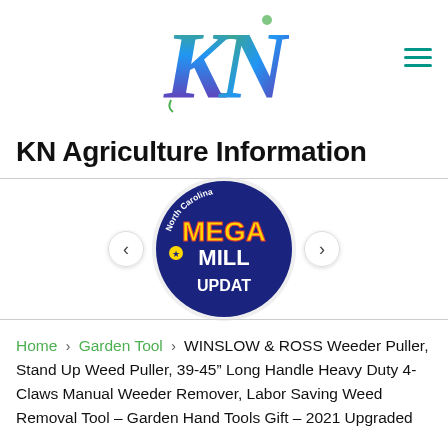[Figure (logo): KN Agriculture Information website logo — stylized KN letters in green/blue/purple gradient with decorative flourishes, centered at top of page]
KN Agriculture Information
[Figure (screenshot): North Carolina Mega Millions Update circular badge/logo image shown in a slider carousel with left and right navigation arrows]
Home > Garden Tool > WINSLOW & ROSS Weeder Puller, Stand Up Weed Puller, 39-45″ Long Handle Heavy Duty 4-Claws Manual Weeder Remover, Labor Saving Weed Removal Tool – Garden Hand Tools Gift – 2021 Upgraded